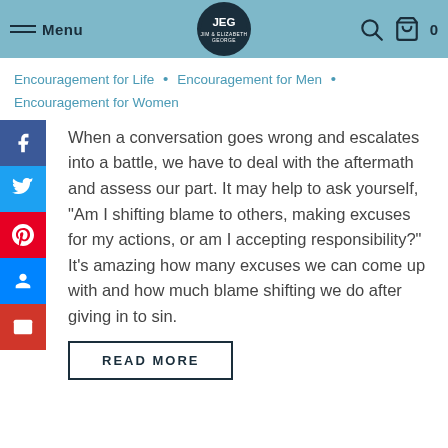Menu | JEG — Jim & Elizabeth George | Search | Cart 0
Encouragement for Life • Encouragement for Men • Encouragement for Women
When a conversation goes wrong and escalates into a battle, we have to deal with the aftermath and assess our part. It may help to ask yourself, "Am I shifting blame to others, making excuses for my actions, or am I accepting responsibility?" It's amazing how many excuses we can come up with and how much blame shifting we do after giving in to sin.
READ MORE